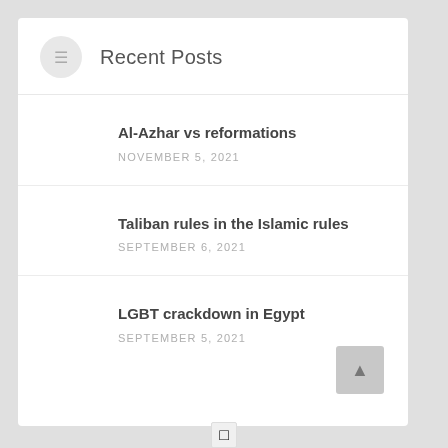Recent Posts
Al-Azhar vs reformations
NOVEMBER 5, 2021
Taliban rules in the Islamic rules
SEPTEMBER 6, 2021
LGBT crackdown in Egypt
SEPTEMBER 5, 2021